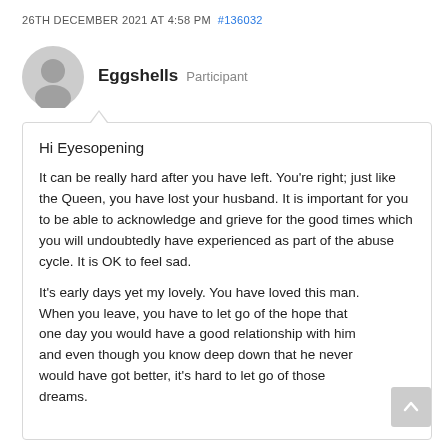26TH DECEMBER 2021 AT 4:58 PM  #136032
Eggshells  Participant
Hi Eyesopening

It can be really hard after you have left. You're right; just like the Queen, you have lost your husband. It is important for you to be able to acknowledge and grieve for the good times which you will undoubtedly have experienced as part of the abuse cycle. It is OK to feel sad.

It's early days yet my lovely. You have loved this man. When you leave, you have to let go of the hope that one day you would have a good relationship with him and even though you know deep down that he never would have got better, it's hard to let go of those dreams.